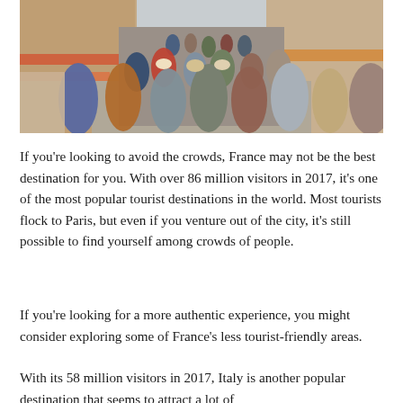[Figure (photo): A crowded narrow street in France, filled with many tourists walking shoulder to shoulder, with shops lining both sides of the street. The scene is vibrant and busy, with people in summer clothing.]
If you're looking to avoid the crowds, France may not be the best destination for you. With over 86 million visitors in 2017, it's one of the most popular tourist destinations in the world. Most tourists flock to Paris, but even if you venture out of the city, it's still possible to find yourself among crowds of people.
If you're looking for a more authentic experience, you might consider exploring some of France's less tourist-friendly areas.
With its 58 million visitors in 2017, Italy is another popular destination that seems to attract a lot of